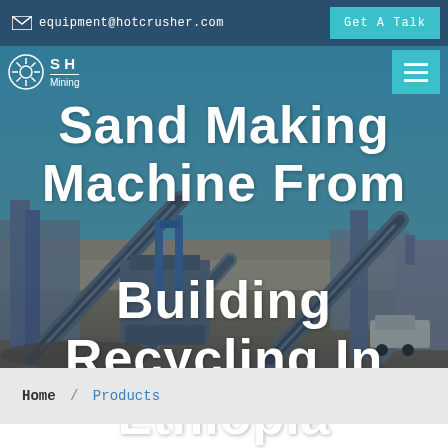[Figure (photo): Industrial mining/crushing plant facility with conveyor belts and heavy equipment under a blue sky, used as hero background image for a mining equipment company website.]
equipment@hotcrusher.com   Get A Talk
SH Mining (logo with hamburger menu)
Sand Making Machine From Building Recycling In Ethiopia
Home / Products